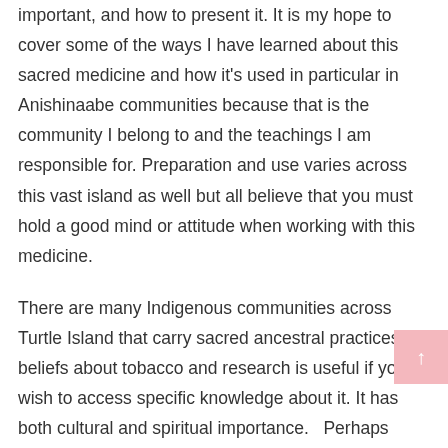important, and how to present it. It is my hope to cover some of the ways I have learned about this sacred medicine and how it's used in particular in Anishinaabe communities because that is the community I belong to and the teachings I am responsible for. Preparation and use varies across this vast island as well but all believe that you must hold a good mind or attitude when working with this medicine.
There are many Indigenous communities across Turtle Island that carry sacred ancestral practices & beliefs about tobacco and research is useful if you wish to access specific knowledge about it. It has both cultural and spiritual importance.  Perhaps